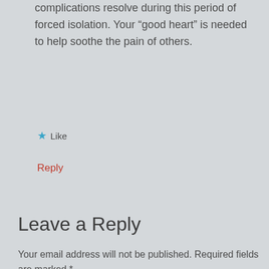complications resolve during this period of forced isolation. Your “good heart” is needed to help soothe the pain of others.
★ Like
Reply
Leave a Reply
Your email address will not be published. Required fields are marked *
Comment *